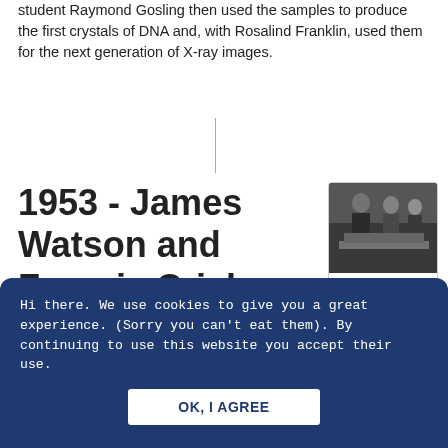student Raymond Gosling then used the samples to produce the first crystals of DNA and, with Rosalind Franklin, used them for the next generation of X-ray images.
1953 - James Watson and Francis Crick discover the double helix structure of DNA
[Figure (photo): Black and white photograph of scientists examining a model, with a caption link 'View the slide']
In 1951, James Watson visited Cambridge University and happened
Hi there. We use cookies to give you a great experience. (Sorry you can't eat them). By continuing to use this website you accept their use.
OK, I AGREE